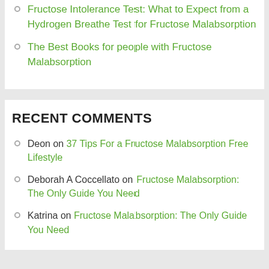Fructose Intolerance Test: What to Expect from a Hydrogen Breathe Test for Fructose Malabsorption
The Best Books for people with Fructose Malabsorption
RECENT COMMENTS
Deon on 37 Tips For a Fructose Malabsorption Free Lifestyle
Deborah A Coccellato on Fructose Malabsorption: The Only Guide You Need
Katrina on Fructose Malabsorption: The Only Guide You Need